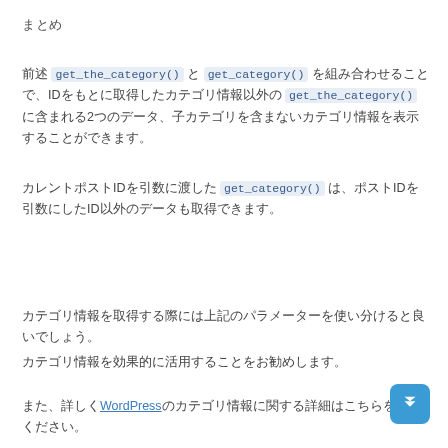まとめ
前述 get_the_category() と get_category() を組み合わせることで、IDをもとに取得したカテゴリ情報以外の get_the_category() に含まれる2つのデータ、子カテゴリを含まないカテゴリ情報を表示することができます。
カレントポストIDを引数に渡した get_category() は、ポストIDを引数にしたID以外のデータも取得できます。
カテゴリ情報を取得する際には上記のパラメーターを使い分けると良いでしょう。
カテゴリ情報を効果的に活用することをお勧めします。
また、詳しくWordPressのカテゴリ情報に関する詳細はこちらをご覧ください。